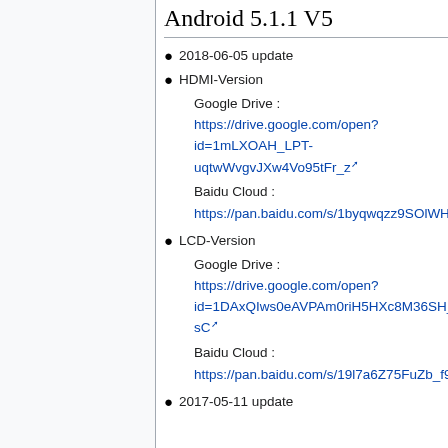Android 5.1.1 V5
2018-06-05 update
HDMI-Version
Google Drive : https://drive.google.com/open?id=1mLXOAH_LPT-uqtwWvgvJXw4Vo95tFr_z
Baidu Cloud : https://pan.baidu.com/s/1byqwqzz9SOlWHYfOabXKNw
LCD-Version
Google Drive : https://drive.google.com/open?id=1DAxQIws0eAVPAm0riH5HXc8M36SH_-sC
Baidu Cloud : https://pan.baidu.com/s/19l7a6Z75FuZb_f9Ls0fN5w
2017-05-11 update